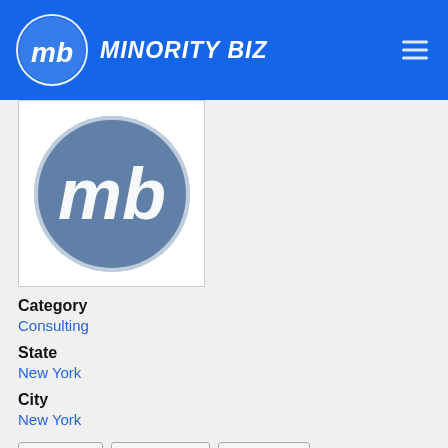MINORITY BIZ
[Figure (logo): Minority Biz circular logo with MB monogram in steel blue]
Category
Consulting
State
New York
City
New York
Read more   Read reviews   Write review
Noel Building Consulting Inc
0.0 (0)